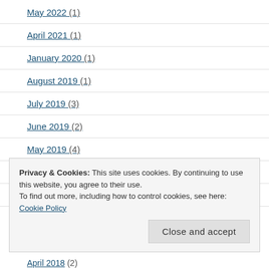May 2022 (1)
April 2021 (1)
January 2020 (1)
August 2019 (1)
July 2019 (3)
June 2019 (2)
May 2019 (4)
April 2019 (2)
January 2019 (3)
December 2018 (1)
Privacy & Cookies: This site uses cookies. By continuing to use this website, you agree to their use.
To find out more, including how to control cookies, see here: Cookie Policy
April 2018 (2)